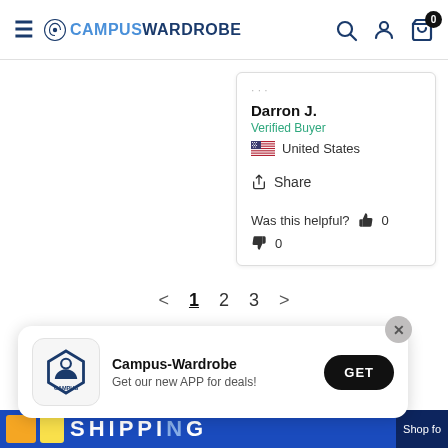CAMPUS WARDROBE
Darron J.
Verified Buyer
United States
Share
Was this helpful? 0
0
< 1 2 3 >
[Figure (screenshot): App install banner for Campus-Wardrobe with logo, text 'Get our new APP for deals!' and a GET button]
[Figure (screenshot): Bottom banner showing 'SHIPPING' text in blue and 'Shop fo...' text on right]